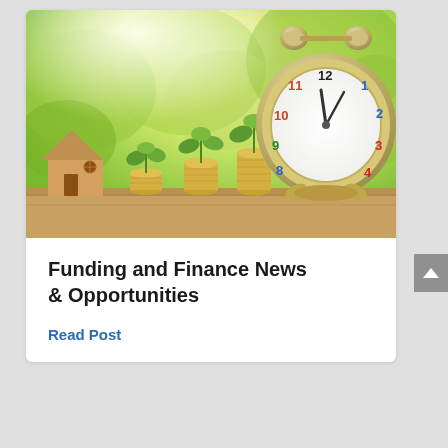[Figure (photo): Photo showing a wooden house figurine, three stacks of coins with small green plants growing from them in increasing height, and a large alarm clock with colorful numbers on a wooden surface with green bokeh background. Represents financial growth and investment.]
Funding and Finance News & Opportunities
Read Post